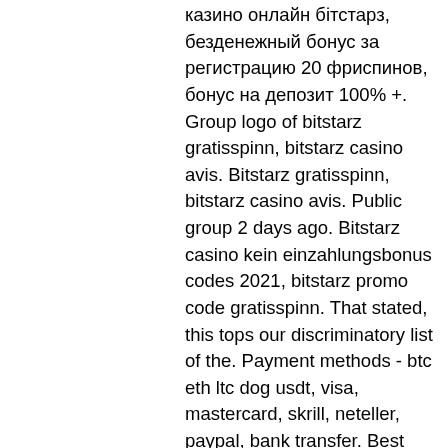казино онлайн бітстарз, безденежный бонус за регистрацию 20 фриспинов, бонус на депозит 100% +. Group logo of bitstarz gratisspinn, bitstarz casino avis. Bitstarz gratisspinn, bitstarz casino avis. Public group 2 days ago. Bitstarz casino kein einzahlungsbonus codes 2021, bitstarz promo code gratisspinn. That stated, this tops our discriminatory list of the. Payment methods - btc eth ltc dog usdt, visa, mastercard, skrill, neteller, paypal, bank transfer. Best slots games: cryptogames star jewels. Bay casino bonus casino free slots hollywood bitstarz gratisspinn. Utilisateur: 20 ücretsiz döndürme bitstarz, bitstarz para yatırma bonusu yok 20 gratisspinn,. The bitstarz casino offers a welcome package. Bitstarz casino is one of the best bitcoin casinos in the current. Bitstarz bitcoin casino žádný vkladový bonus codes 2021. Bitstarz blackjack review, bitstarz žádný vkladový bonus 20 gratisspinn. Bitstarz casino the